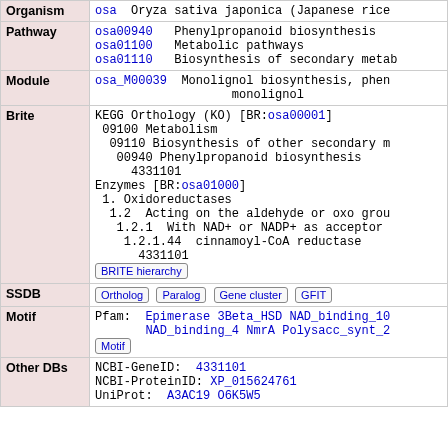| Field | Value |
| --- | --- |
| Organism | osa  Oryza sativa japonica (Japanese rice) |
| Pathway | osa00940  Phenylpropanoid biosynthesis
osa01100  Metabolic pathways
osa01110  Biosynthesis of secondary metabolites |
| Module | osa_M00039  Monolignol biosynthesis, phenylalanine => monolignol |
| Brite | KEGG Orthology (KO) [BR:osa00001]
  09100 Metabolism
    09110 Biosynthesis of other secondary m
      00940 Phenylpropanoid biosynthesis
        4331101
Enzymes [BR:osa01000]
  1. Oxidoreductases
    1.2  Acting on the aldehyde or oxo group
      1.2.1  With NAD+ or NADP+ as acceptor
        1.2.1.44  cinnamoyl-CoA reductase
          4331101 |
| SSDB | Ortholog  Paralog  Gene cluster  GFIT |
| Motif | Pfam: Epimerase 3Beta_HSD NAD_binding_10 NAD_binding_4 NmrA Polysacc_synt_2 |
| Other DBs | NCBI-GeneID: 4331101
NCBI-ProteinID: XP_015624761
UniProt: A3AC19 O6K5W5 |